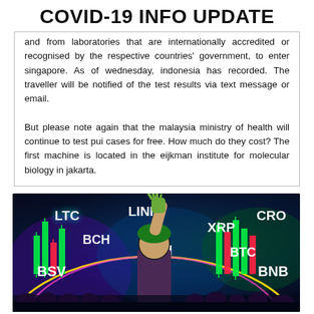COVID-19 INFO UPDATE
and from laboratories that are internationally accredited or recognised by the respective countries' government, to enter singapore. As of wednesday, indonesia has recorded. The traveller will be notified of the test results via text message or email.
But please note again that the malaysia ministry of health will continue to test pui cases for free. How much do they cost? The first machine is located in the eijkman institute for molecular biology in jakarta.
[Figure (illustration): Colorful crypto-themed illustration with neon-lit cryptocurrency ticker symbols (LTC, LINK, XRP, CRO, BCH, ETH, BTC, BSV, BNB) floating over a glowing background with green candlestick bars, a character raising their hand, and a crowd at the bottom.]